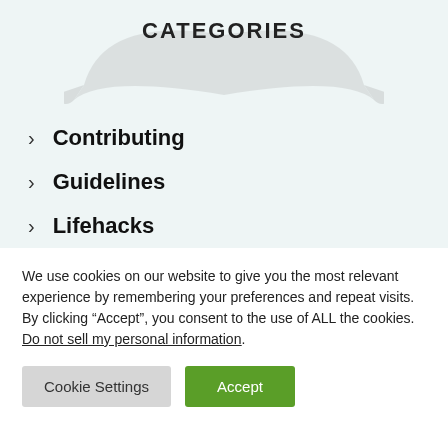CATEGORIES
Contributing
Guidelines
Lifehacks
Other
We use cookies on our website to give you the most relevant experience by remembering your preferences and repeat visits. By clicking “Accept”, you consent to the use of ALL the cookies.
Do not sell my personal information.